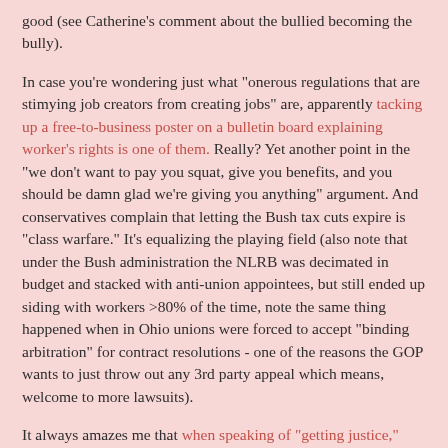good (see Catherine's comment about the bullied becoming the bully).
In case you're wondering just what "onerous regulations that are stimying job creators from creating jobs" are, apparently tacking up a free-to-business poster on a bulletin board explaining worker's rights is one of them. Really? Yet another point in the "we don't want to pay you squat, give you benefits, and you should be damn glad we're giving you anything" argument. And conservatives complain that letting the Bush tax cuts expire is "class warfare." It's equalizing the playing field (also note that under the Bush administration the NLRB was decimated in budget and stacked with anti-union appointees, but still ended up siding with workers >80% of the time, note the same thing happened when in Ohio unions were forced to accept "binding arbitration" for contract resolutions - one of the reasons the GOP wants to just throw out any 3rd party appeal which means, welcome to more lawsuits).
It always amazes me that when speaking of "getting justice," most people just mean, "somebody needs to pay for my pain." This instead of, "we need to punish the person who did this." (Grokked from omgrey).